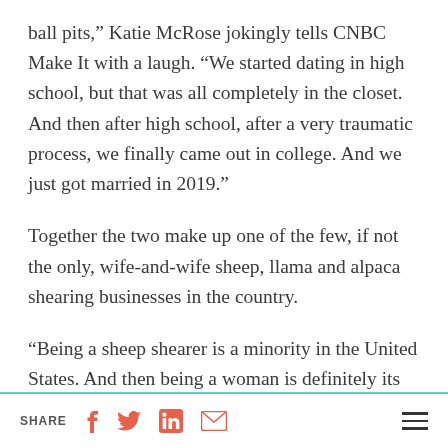ball pits," Katie McRose jokingly tells CNBC Make It with a laugh. "We started dating in high school, but that was all completely in the closet. And then after high school, after a very traumatic process, we finally came out in college. And we just got married in 2019."
Together the two make up one of the few, if not the only, wife-and-wife sheep, llama and alpaca shearing businesses in the country.
“Being a sheep shearer is a minority in the United States. And then being a woman is definitely its own subcategory. And then to be a gay woman, I
SHARE